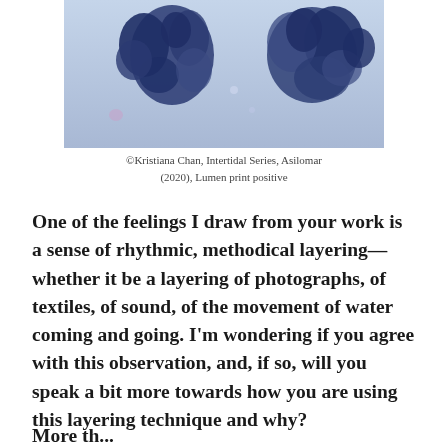[Figure (photo): Abstract lumen print photograph showing blue ink-like organic shapes against a light blue background, resembling microscopic or tidal organisms.]
©Kristiana Chan, Intertidal Series, Asilomar (2020), Lumen print positive
One of the feelings I draw from your work is a sense of rhythmic, methodical layering—whether it be a layering of photographs, of textiles, of sound, of the movement of water coming and going. I'm wondering if you agree with this observation, and, if so, will you speak a bit more towards how you are using this layering technique and why?
More below...